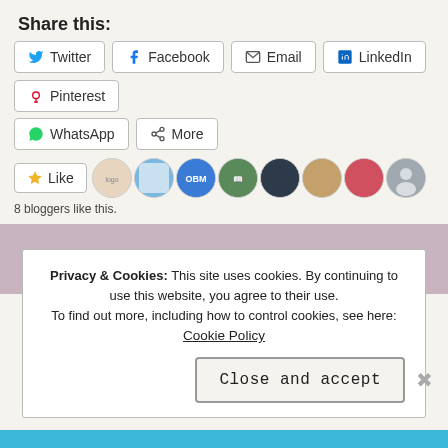Share this:
Twitter  Facebook  Email  LinkedIn  Pinterest  WhatsApp  More
[Figure (screenshot): Like button with star icon, followed by avatar strip of 8 blogger profile pictures]
8 bloggers like this.
[Figure (other): Purple/mauve colored horizontal banner bar]
[Figure (other): Pin/pushpin icon in a light grey circle]
Privacy & Cookies: This site uses cookies. By continuing to use this website, you agree to their use. To find out more, including how to control cookies, see here: Cookie Policy
Close and accept